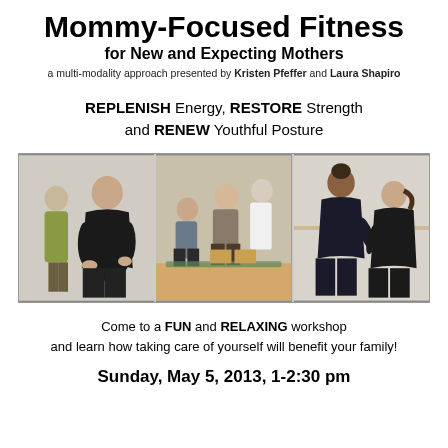Mommy-Focused Fitness
for New and Expecting Mothers
a multi-modality approach presented by Kristen Pfeffer and Laura Shapiro
REPLENISH Energy, RESTORE Strength and RENEW Youthful Posture
[Figure (photo): Three-panel photo strip showing pregnant women and instructors in a fitness/yoga workshop setting]
Come to a FUN and RELAXING workshop and learn how taking care of yourself will benefit your family!
Sunday, May 5, 2013, 1-2:30 pm